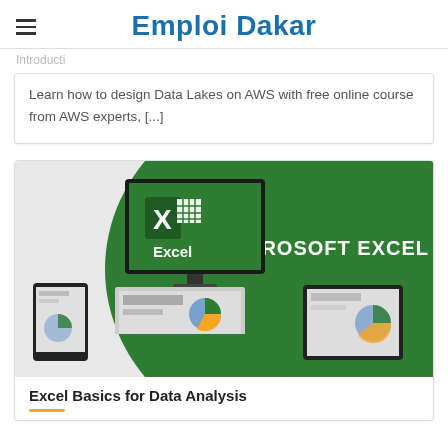Emploi Dakar
Introducti
Learn how to design Data Lakes on AWS with free online course from AWS experts, [...]
[Figure (screenshot): Microsoft Excel promotional image showing a monitor, laptop, tablet and smartphone all displaying Excel spreadsheets with charts, on a green background with the text MICROSOFT EXCEL and the Excel logo]
Excel Basics for Data Analysis